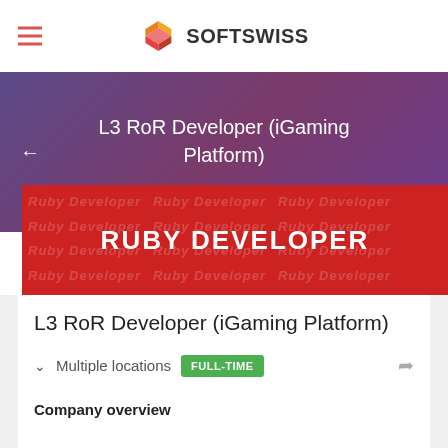SOFTSWISS
L3 RoR Developer (iGaming Platform)
[Figure (illustration): Red Ruby Developer banner with 'RUBY DEVELOPER' text in white bold, overlaid with repeated 'Ruby Developer' watermark text in lighter tones]
L3 RoR Developer (iGaming Platform)
Multiple locations   FULL-TIME
Company overview